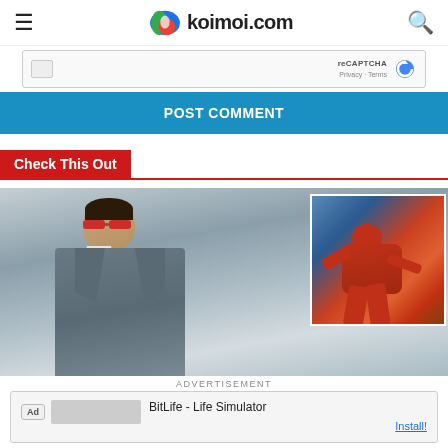koimoi.com
[Figure (screenshot): reCAPTCHA widget with Privacy and Terms links]
POST COMMENT
Check This Out
[Figure (photo): Man in grey suit with red sunglasses (Daredevil) on left; overlaid image of Spider-Man in action pose on right]
ADVERTISEMENT
[Figure (screenshot): Ad: BitLife - Life Simulator with Install button]